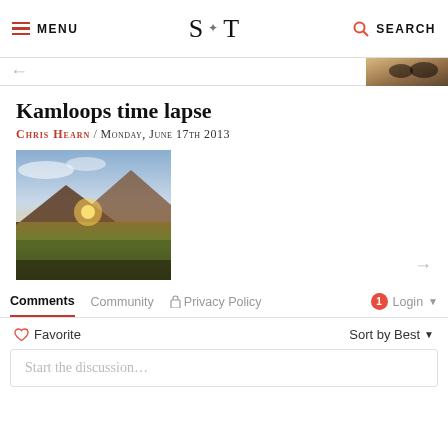MENU | S T | SEARCH
Kamloops time lapse
Chris Hearn / Monday, June 17th 2013
[Figure (photo): Landscape photo of mountains at sunset with sunflare and green fields in foreground]
Comments   Community   Privacy Policy   1   Login
Favorite   Sort by Best
Start the discussion…